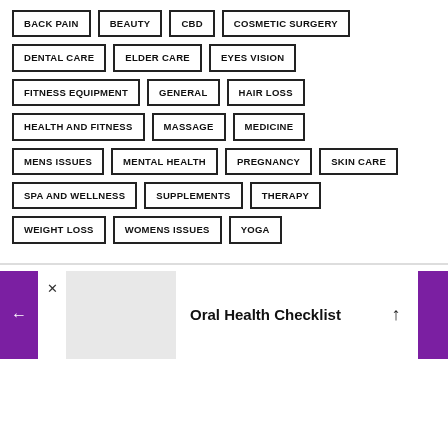BACK PAIN
BEAUTY
CBD
COSMETIC SURGERY
DENTAL CARE
ELDER CARE
EYES VISION
FITNESS EQUIPMENT
GENERAL
HAIR LOSS
HEALTH AND FITNESS
MASSAGE
MEDICINE
MENS ISSUES
MENTAL HEALTH
PREGNANCY
SKIN CARE
SPA AND WELLNESS
SUPPLEMENTS
THERAPY
WEIGHT LOSS
WOMENS ISSUES
YOGA
Oral Health Checklist